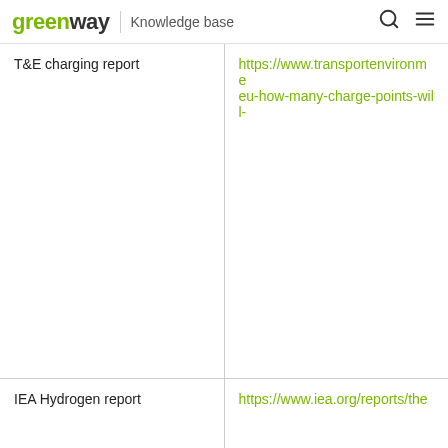greenway | Knowledge base
| T&E charging report | https://www.transportenvironment.eu-how-many-charge-points-will-... |
| IEA Hydrogen report | https://www.iea.org/reports/the... |